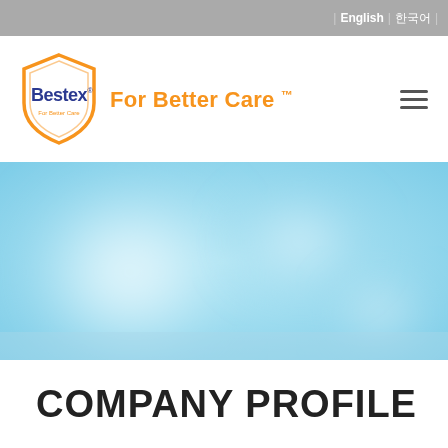| English | 한국어 |
[Figure (logo): Bestex shield logo with 'For Better Care' tagline]
[Figure (photo): Abstract light blue bokeh hero image background]
COMPANY PROFILE